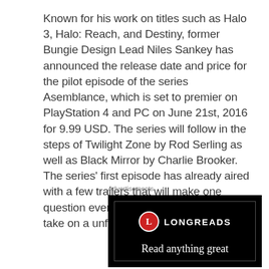Known for his work on titles such as Halo 3, Halo: Reach, and Destiny, former Bungie Design Lead Niles Sankey has announced the release date and price for the pilot episode of the series Asemblance, which is set to premier on PlayStation 4 and PC on June 21st, 2016 for 9.99 USD. The series will follow in the steps of Twilight Zone by Rod Serling as well as Black Mirror by Charlie Brooker. The series' first episode has already aired with a few trailers that will make one question everything around them as they take on a unforeseen turn of events.
Advertisements
[Figure (other): Longreads advertisement banner on black background with red circle logo containing letter L, the text LONGREADS, and tagline 'Read anything great' in white serif font]